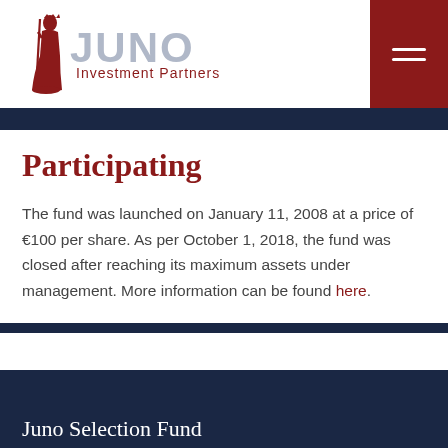[Figure (logo): Juno Investment Partners logo with a Roman figure holding a staff on the left and text 'JUNO Investment Partners' in dark red and gray]
Participating
The fund was launched on January 11, 2008 at a price of €100 per share. As per October 1, 2018, the fund was closed after reaching its maximum assets under management. More information can be found here.
Juno Selection Fund